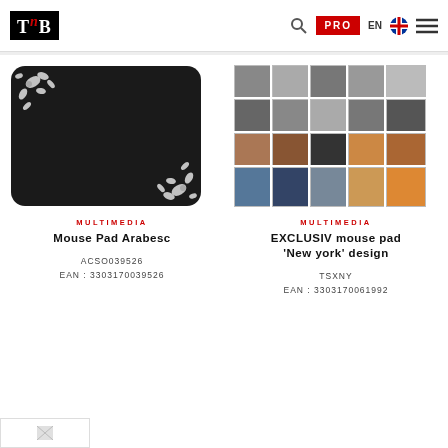[Figure (logo): TnB brand logo in black box with red B letter]
PRO  EN  [flag icon]  [menu icon]
[Figure (photo): Mouse Pad Arabesc - black mouse pad with white floral arabesque design in corners]
[Figure (photo): EXCLUSIV mouse pad New york design - mouse pad with collage of New York city photos]
MULTIMEDIA
Mouse Pad Arabesc
ACSO039526
EAN : 3303170039526
MULTIMEDIA
EXCLUSIV mouse pad 'New york' design
TSXNY
EAN : 3303170061992